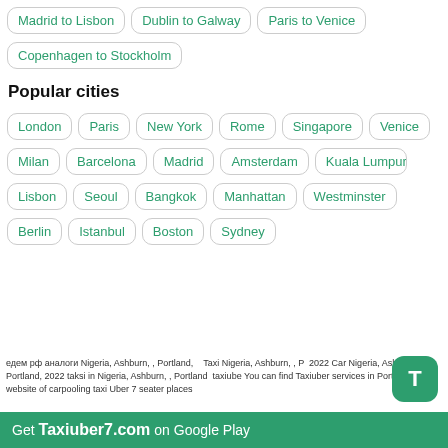Madrid to Lisbon
Dublin to Galway
Paris to Venice
Copenhagen to Stockholm
Popular cities
London
Paris
New York
Rome
Singapore
Venice
Milan
Barcelona
Madrid
Amsterdam
Kuala Lumpur
Lisbon
Seoul
Bangkok
Manhattan
Westminster
Berlin
Istanbul
Boston
Sydney
едем рф аналоги Nigeria, Ashburn, , Portland,    Taxi Nigeria, Ashburn, , P 2022 Car Nigeria, Ashburn, , Portland, 2022 taksi in Nigeria, Ashburn, , Portland taxiube You can find Taxiuber services in Portland - website of carpooling taxi Uber 7 seater places
Get Taxiuber7.com on Google Play